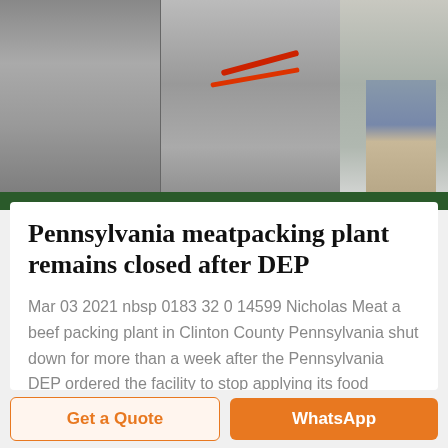[Figure (photo): Industrial food processing machinery in a plant, stainless steel equipment with red wires/cables visible, worker's legs visible at right side, green conveyor belt at bottom]
Pennsylvania meatpacking plant remains closed after DEP
Mar 03 2021 nbsp 0183 32 0 14599 Nicholas Meat a beef packing plant in Clinton County Pennsylvania shut down for more than a week after the Pennsylvania DEP ordered the facility to stop applying its food processing
Get a Quote | WhatsApp